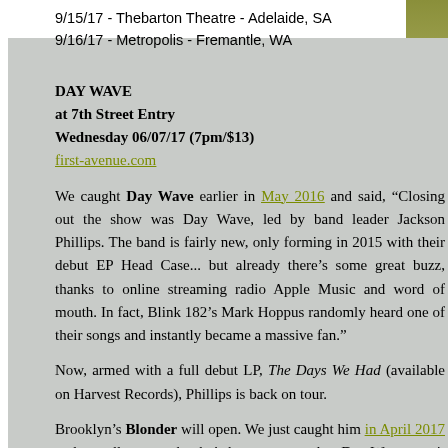9/15/17 - Thebarton Theatre - Adelaide, SA
9/16/17 - Metropolis - Fremantle, WA
DAY WAVE
at 7th Street Entry
Wednesday 06/07/17 (7pm/$13)
first-avenue.com
We caught Day Wave earlier in May 2016 and said, “Closing out the show was Day Wave, led by band leader Jackson Phillips. The band is fairly new, only forming in 2015 with their debut EP Head Case... but already there’s some great buzz, thanks to online streaming radio Apple Music and word of mouth. In fact, Blink 182’s Mark Hoppus randomly heard one of their songs and instantly became a massive fan.”
Now, armed with a full debut LP, The Days We Had (available on Harvest Records), Phillips is back on tour.
Brooklyn’s Blonder will open. We just caught him in April 2017 and actually wrote that he’s been compared to Day Wave - so it made sense that he is their guest on this tour: “Although the band’s been compared to Day Wave, a newfound fan in the audience described the band as a “Sleepy Strokes”.”
Also local Noaxl added to the bill.